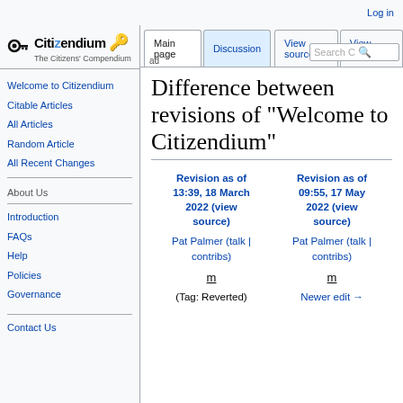Log in
[Figure (logo): Citizendium logo: key icon with text 'Citizendium' and tagline 'The Citizens' Compendium']
ad
Main page | Discussion | View source | View history | Search
Difference between revisions of "Welcome to Citizendium"
Welcome to Citizendium
Citable Articles
All Articles
Random Article
All Recent Changes
About Us
Introduction
FAQs
Help
Policies
Governance
Contact Us
| Revision as of 13:39, 18 March 2022 (view source) | Revision as of 09:55, 17 May 2022 (view source) |
| --- | --- |
| Pat Palmer (talk | contribs) | Pat Palmer (talk | contribs) |
| m | m |
| (Tag: Reverted) | Newer edit → |